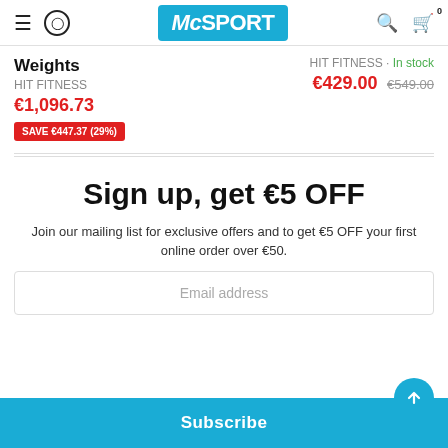McSPORT navigation bar with logo, hamburger menu, user icon, search, and cart
Weights
HIT FITNESS
€1,096.73
SAVE €447.37 (29%)
HIT FITNESS · In stock
€429.00 €549.00
Sign up, get €5 OFF
Join our mailing list for exclusive offers and to get €5 OFF your first online order over €50.
Email address
Subscribe